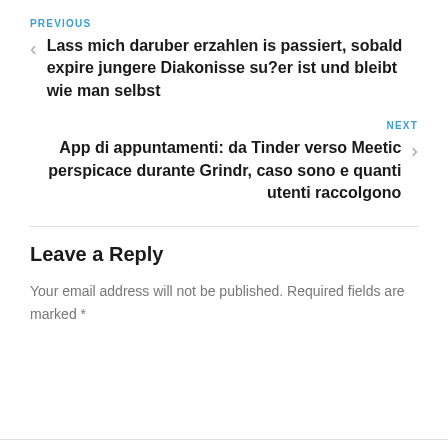PREVIOUS
Lass mich daruber erzahlen is passiert, sobald expire jungere Diakonisse su?er ist und bleibt wie man selbst
NEXT
App di appuntamenti: da Tinder verso Meetic perspicace durante Grindr, caso sono e quanti utenti raccolgono
Leave a Reply
Your email address will not be published. Required fields are marked *